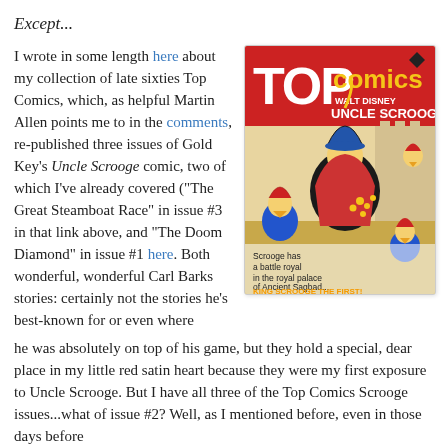Except...
I wrote in some length here about my collection of late sixties Top Comics, which, as helpful Martin Allen points me to in the comments, re-published three issues of Gold Key's Uncle Scrooge comic, two of which I've already covered ("The Great Steamboat Race" in issue #3 in that link above, and "The Doom Diamond" in issue #1 here. Both wonderful, wonderful Carl Barks stories: certainly not the stories he's best-known for or even where he was absolutely on top of his game, but they hold a special, dear place in my little red satin heart because they were my first exposure to Uncle Scrooge. But I have all three of the Top Comics Scrooge issues...what of issue #2? Well, as I mentioned before, even in those days before
[Figure (illustration): Cover of Top Comics Walt Disney Uncle Scrooge comic book, showing Uncle Scrooge and nephews in a castle battle scene with text 'Scrooge has a battle royal in the royal palace of Ancient Sagbad... KING SCROOGE THE FIRST!']